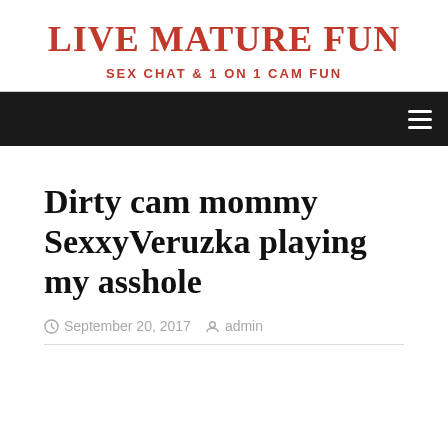LIVE MATURE FUN
SEX CHAT & 1 ON 1 CAM FUN
navigation bar with hamburger menu
Dirty cam mommy SexxyVeruzka playing my asshole
September 20, 2017  admin